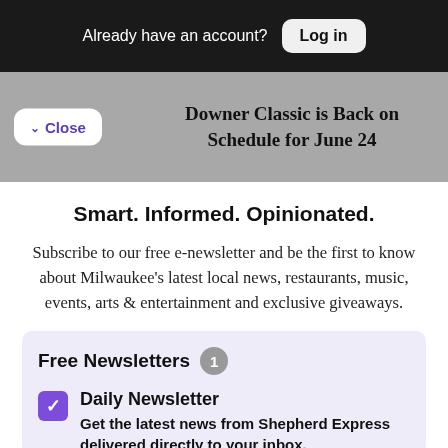Already have an account? Log in
Downer Classic is Back on Schedule for June 24
Smart. Informed. Opinionated.
Subscribe to our free e-newsletter and be the first to know about Milwaukee's latest local news, restaurants, music, events, arts & entertainment and exclusive giveaways.
Free Newsletters 1
Daily Newsletter
Get the latest news from Shepherd Express delivered directly to your inbox.